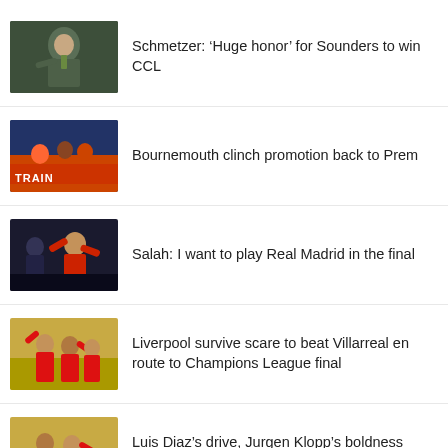Schmetzer: ‘Huge honor’ for Sounders to win CCL
Bournemouth clinch promotion back to Prem
Salah: I want to play Real Madrid in the final
Liverpool survive scare to beat Villarreal en route to Champions League final
Luis Diaz’s drive, Jurgen Klopp’s boldness keeps Liverpool’s Quadruple in play